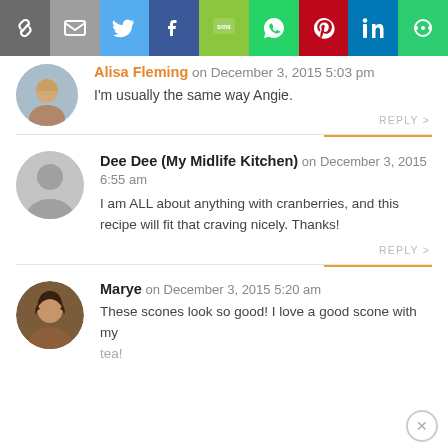[Figure (other): Social sharing toolbar with icons: link/chain, email, Twitter, Facebook, SMS, WhatsApp, Pinterest, LinkedIn, More Options]
Alisa Fleming on December 3, 2015 5:03 pm
I'm usually the same way Angie.
REPLY >
Dee Dee (My Midlife Kitchen) on December 3, 2015 6:55 am
I am ALL about anything with cranberries, and this recipe will fit that craving nicely. Thanks!
REPLY >
Marye on December 3, 2015 5:20 am
These scones look so good! I love a good scone with my tea!